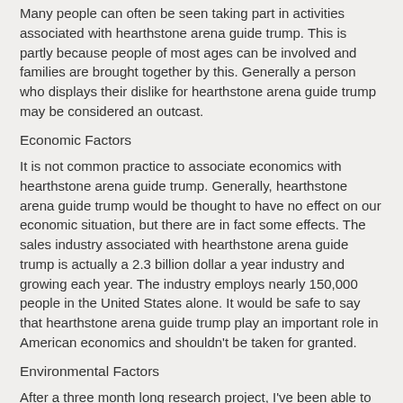Many people can often be seen taking part in activities associated with hearthstone arena guide trump. This is partly because people of most ages can be involved and families are brought together by this. Generally a person who displays their dislike for hearthstone arena guide trump may be considered an outcast.
Economic Factors
It is not common practice to associate economics with hearthstone arena guide trump. Generally, hearthstone arena guide trump would be thought to have no effect on our economic situation, but there are in fact some effects. The sales industry associated with hearthstone arena guide trump is actually a 2.3 billion dollar a year industry and growing each year. The industry employs nearly 150,000 people in the United States alone. It would be safe to say that hearthstone arena guide trump play an important role in American economics and shouldn't be taken for granted.
Environmental Factors
After a three month long research project, I've been able to conclude that hearthstone arena